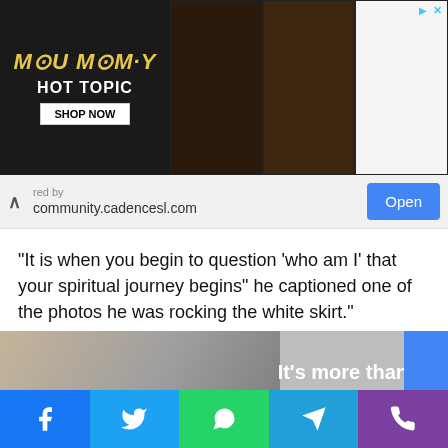[Figure (screenshot): Hot Topic advertisement banner featuring The Mummy movie branding with dark background and product images on the right side]
red by community.cadencesl.com
[Figure (screenshot): Open button in blue on right, part of ad prompt UI]
“It is when you begin to question ‘who am I’ that your spiritual journey begins” he captioned one of the photos he was rocking the white skirt.”
In a post, Almasi said people will always look for something to say to fill up their false egos.
[Figure (photo): Advertisement showing elderly people with text: It's more than just care, it's]
[Figure (screenshot): Social media share bar with Facebook, Twitter, WhatsApp, Telegram, and phone icons]